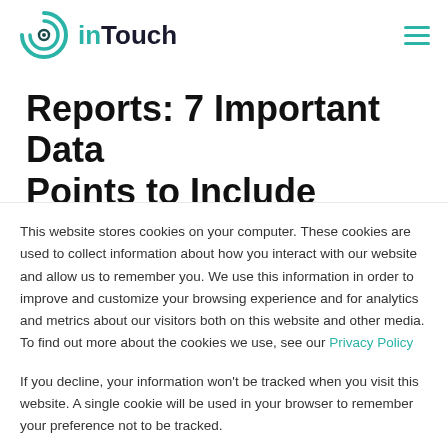[Figure (logo): inTouch logo with teal circular icon and brand name]
Reports: 7 Important Data Points to Include
To hit your revenue targets, you need
This website stores cookies on your computer. These cookies are used to collect information about how you interact with our website and allow us to remember you. We use this information in order to improve and customize your browsing experience and for analytics and metrics about our visitors both on this website and other media. To find out more about the cookies we use, see our Privacy Policy
If you decline, your information won't be tracked when you visit this website. A single cookie will be used in your browser to remember your preference not to be tracked.
Accept
Decline